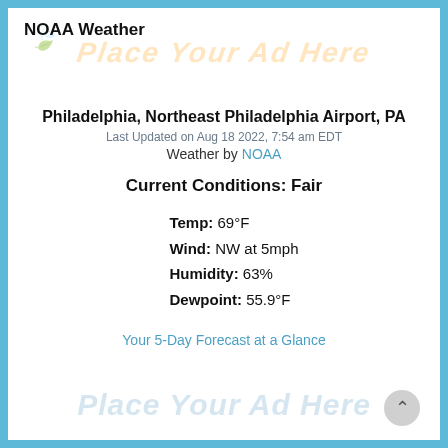NOAA Weather
Philadelphia, Northeast Philadelphia Airport, PA
Last Updated on Aug 18 2022, 7:54 am EDT
Weather by NOAA
Current Conditions: Fair
Temp: 69°F
Wind: NW at 5mph
Humidity: 63%
Dewpoint: 55.9°F
Your 5-Day Forecast at a Glance
[Figure (other): Place Your Ad Here watermark at bottom of page]
[Figure (other): Place Your Ad Here watermark at top of page]